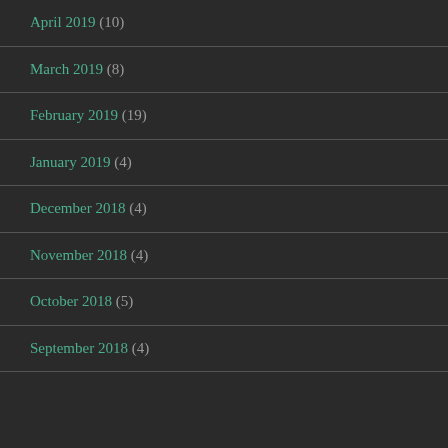April 2019 (10)
March 2019 (8)
February 2019 (19)
January 2019 (4)
December 2018 (4)
November 2018 (4)
October 2018 (5)
September 2018 (4)